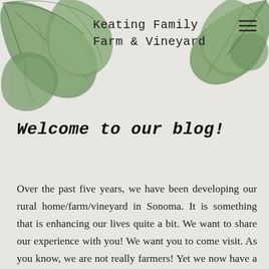Keating Family Farm & Vineyard
[Figure (illustration): Decorative watercolor green leaves arrangement in upper-left and upper-right corners of the page header]
Welcome to our blog!
Over the past five years, we have been developing our rural home/farm/vineyard in Sonoma. It is something that is enhancing our lives quite a bit. We want to share our experience with you! We want you to come visit. As you know, we are not really farmers! Yet we now have a farm to